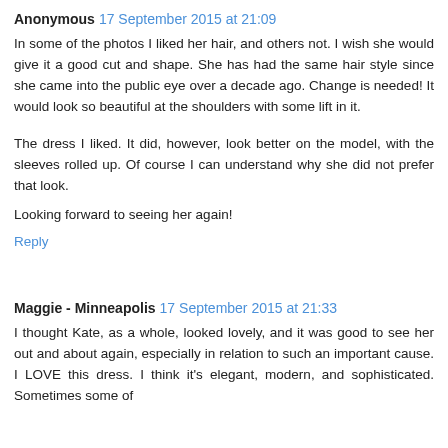Anonymous  17 September 2015 at 21:09
In some of the photos I liked her hair, and others not. I wish she would give it a good cut and shape. She has had the same hair style since she came into the public eye over a decade ago. Change is needed! It would look so beautiful at the shoulders with some lift in it.
The dress I liked. It did, however, look better on the model, with the sleeves rolled up. Of course I can understand why she did not prefer that look.
Looking forward to seeing her again!
Reply
Maggie - Minneapolis  17 September 2015 at 21:33
I thought Kate, as a whole, looked lovely, and it was good to see her out and about again, especially in relation to such an important cause. I LOVE this dress. I think it's elegant, modern, and sophisticated. Sometimes some of